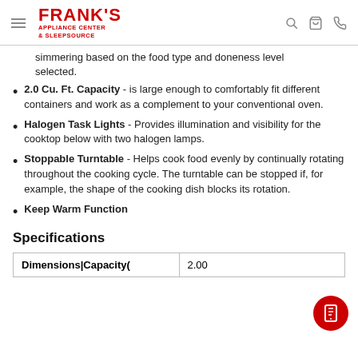Frank's Appliance Center & Sleepsource
simmering based on the food type and doneness level selected.
2.0 Cu. Ft. Capacity - is large enough to comfortably fit different containers and work as a complement to your conventional oven.
Halogen Task Lights - Provides illumination and visibility for the cooktop below with two halogen lamps.
Stoppable Turntable - Helps cook food evenly by continually rotating throughout the cooking cycle. The turntable can be stopped if, for example, the shape of the cooking dish blocks its rotation.
Keep Warm Function
Specifications
| Dimensions|Capacity( |  |
| --- | --- |
| Dimensions|Capacity( | 2.00 |